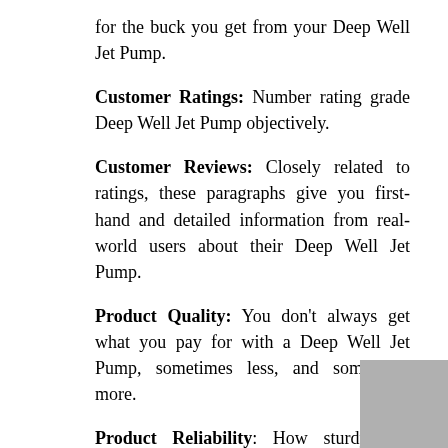for the buck you get from your Deep Well Jet Pump.
Customer Ratings: Number rating grade Deep Well Jet Pump objectively.
Customer Reviews: Closely related to ratings, these paragraphs give you first-hand and detailed information from real-world users about their Deep Well Jet Pump.
Product Quality: You don't always get what you pay for with a Deep Well Jet Pump, sometimes less, and sometimes more.
Product Reliability: How sturdy and durable a Deep Well Jet Pump is should be an indication of how long it will work out for you.